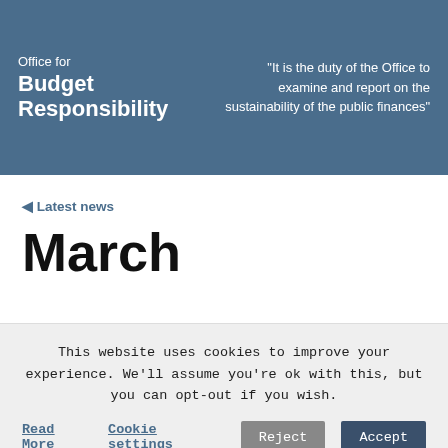Office for Budget Responsibility — "It is the duty of the Office to examine and report on the sustainability of the public finances"
◄ Latest news
March
This website uses cookies to improve your experience. We'll assume you're ok with this, but you can opt-out if you wish.
Read More   Cookie settings   Reject   Accept